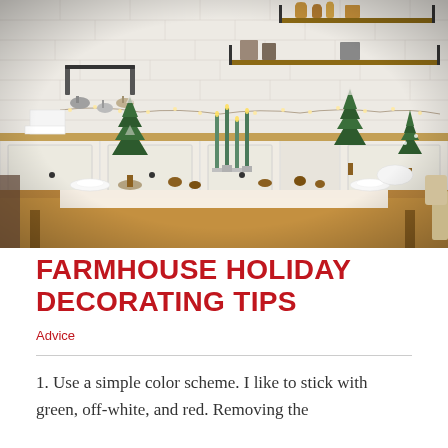[Figure (photo): A farmhouse dining table decorated for Christmas/holidays with small pine trees, tall taper candles, pine cones, and white tableware. The kitchen background shows white subway tile walls, open wood shelves with warm string lights, copper pots and pans, and white cabinetry. A wooden bench sits at the foreground.]
FARMHOUSE HOLIDAY DECORATING TIPS
Advice
1. Use a simple color scheme. I like to stick with green, off-white, and red. Removing the